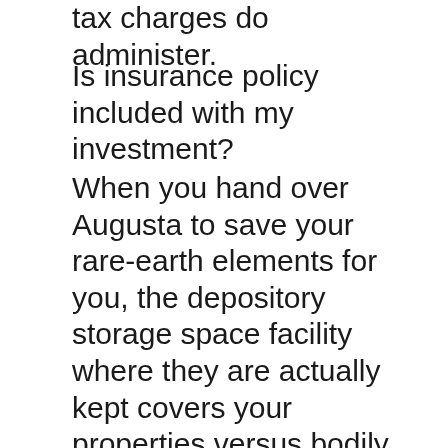tax charges do administer.
Is insurance policy included with my investment?
When you hand over Augusta to save your rare-earth elements for you, the depository storage space facility where they are actually kept covers your properties versus bodily damage as well as loss making use of an all-risk Lloyd of Greater london's insurance while in their care.
Should you decide on to have your precious metallics delivered to you, their costs are actually dealt with by responsibility insurance until they are actually delivered to your wanted IRA storage space amenities. Map of Augusta Precious Metals Storage